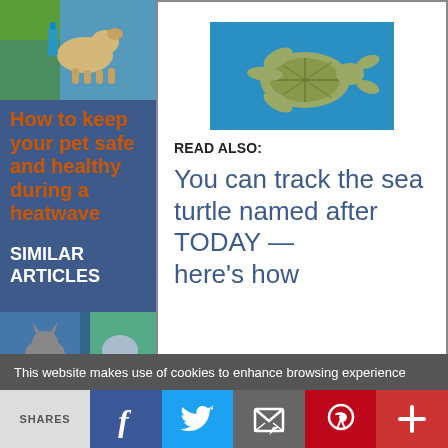[Figure (photo): Dog being given water from a bottle outdoors, on a blue sidebar background]
How to keep your pet safe and healthy during a heatwave
SIMILAR ARTICLES
[Figure (photo): Cat being held, in sidebar bottom]
[Figure (photo): Sea turtle swimming underwater, blue water background]
READ ALSO:
You can track the sea turtle named after TODAY — here's how
This website makes use of cookies to enhance browsing experience
SHARES